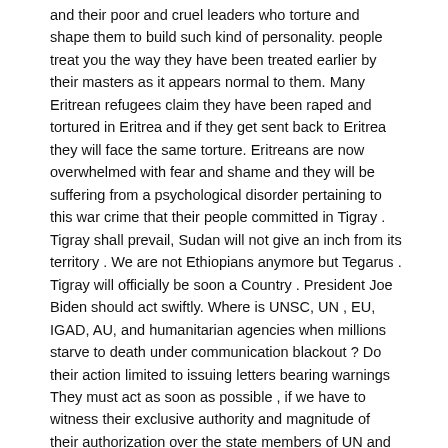and their poor and cruel leaders who torture and shape them to build such kind of personality. people treat you the way they have been treated earlier by their masters as it appears normal to them. Many Eritrean refugees claim they have been raped and tortured in Eritrea and if they get sent back to Eritrea they will face the same torture. Eritreans are now overwhelmed with fear and shame and they will be suffering from a psychological disorder pertaining to this war crime that their people committed in Tigray . Tigray shall prevail, Sudan will not give an inch from its territory . We are not Ethiopians anymore but Tegarus . Tigray will officially be soon a Country . President Joe Biden should act swiftly. Where is UNSC, UN , EU, IGAD, AU, and humanitarian agencies when millions starve to death under communication blackout ? Do their action limited to issuing letters bearing warnings They must act as soon as possible , if we have to witness their exclusive authority and magnitude of their authorization over the state members of UN and the world at large.
Reply
LEAVE A REPLY
Comment: